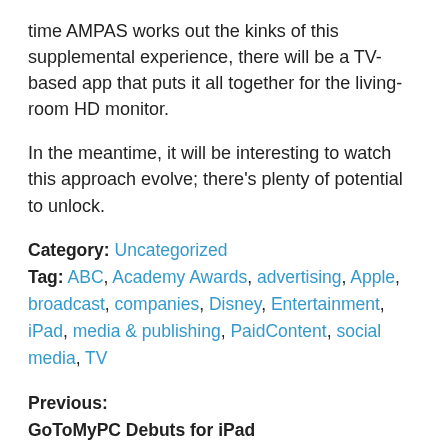time AMPAS works out the kinks of this supplemental experience, there will be a TV-based app that puts it all together for the living-room HD monitor.
In the meantime, it will be interesting to watch this approach evolve; there's plenty of potential to unlock.
Category: Uncategorized
Tag: ABC, Academy Awards, advertising, Apple, broadcast, companies, Disney, Entertainment, iPad, media & publishing, PaidContent, social media, TV
Previous:
GoToMyPC Debuts for iPad
Next:
SocialEyes Taps Facebook Social Graph for Video Chatting